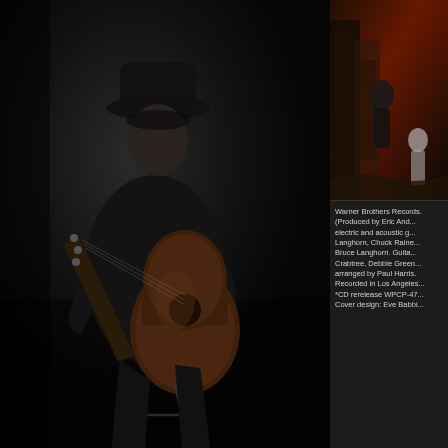[Figure (photo): A man wearing a dark fedora hat and all-black clothing sits on a stool playing an acoustic guitar against a very dark background. He is looking down at the guitar.]
[Figure (photo): Album cover art showing a dark, moody urban street scene with a figure and dramatic red and dark tones.]
Warner Brothers Records. (Produced by Eric And... electric and acoustic g... Langhorn, Chuck Raine... Bruce Langhorn. Guita... Crabtree, Debbie Green... arranged by Paul Harris. Recorded in Los Angeles... *CD rerelease WPCP-47... Cover design: Eve Babbi...